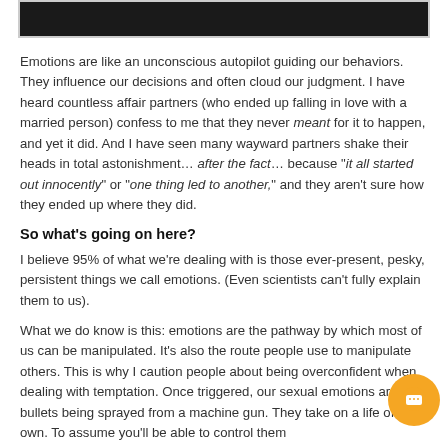[Figure (other): Dark/black rectangular banner at the top of the page, partially visible]
Emotions are like an unconscious autopilot guiding our behaviors. They influence our decisions and often cloud our judgment. I have heard countless affair partners (who ended up falling in love with a married person) confess to me that they never meant for it to happen, and yet it did. And I have seen many wayward partners shake their heads in total astonishment… after the fact… because "it all started out innocently" or "one thing led to another," and they aren't sure how they ended up where they did.
So what's going on here?
I believe 95% of what we're dealing with is those ever-present, pesky, persistent things we call emotions. (Even scientists can't fully explain them to us).
What we do know is this: emotions are the pathway by which most of us can be manipulated. It's also the route people use to manipulate others. This is why I caution people about being overconfident when dealing with temptation. Once triggered, our sexual emotions are like bullets being sprayed from a machine gun. They take on a life of their own. To assume you'll be able to control them